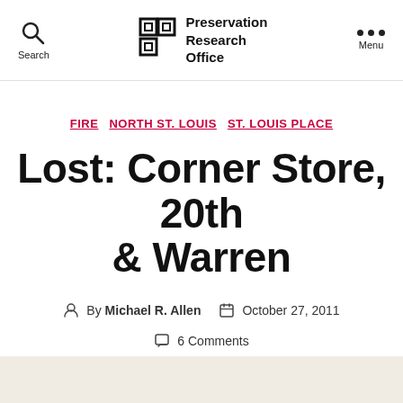Search | Preservation Research Office | Menu
FIRE  NORTH ST. LOUIS  ST. LOUIS PLACE
Lost: Corner Store, 20th & Warren
By Michael R. Allen   October 27, 2011   6 Comments